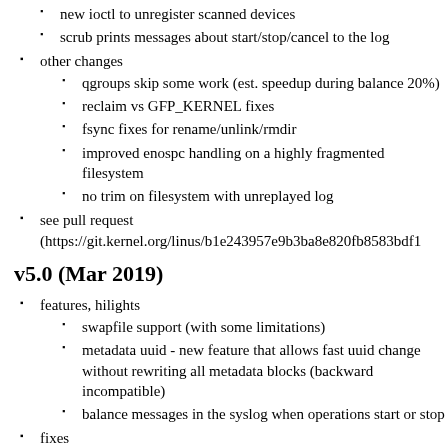new ioctl to unregister scanned devices
scrub prints messages about start/stop/cancel to the log
other changes
qgroups skip some work (est. speedup during balance 20%)
reclaim vs GFP_KERNEL fixes
fsync fixes for rename/unlink/rmdir
improved enospc handling on a highly fragmented filesystem
no trim on filesystem with unreplayed log
see pull request (https://git.kernel.org/linus/b1e243957e9b3ba8e820fb8583bdf1
v5.0 (Mar 2019)
features, hilights
swapfile support (with some limitations)
metadata uuid - new feature that allows fast uuid change without rewriting all metadata blocks (backward incompatible)
balance messages in the syslog when operations start or stop
fixes
improved check of filesystem id associated with a device during scan to detect duplicate devices that could be